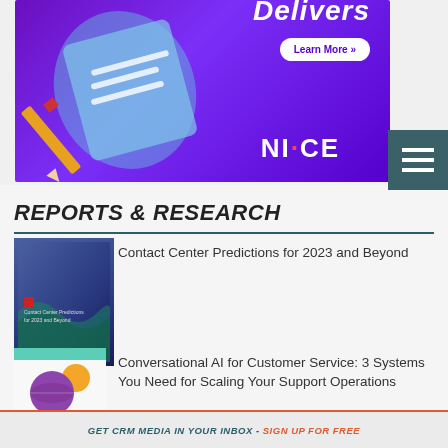[Figure (illustration): Purple banner ad for NICE with a pencil/document illustration, 'Learn More >>' button, and NICE logo]
[Figure (illustration): Dark teal hamburger menu icon (three horizontal lines) on dark background]
REPORTS & RESEARCH
[Figure (photo): Thumbnail cover of 'Contact Center Predictions for 2023 and Beyond' report - dark blue/purple cover]
Contact Center Predictions for 2023 and Beyond
[Figure (photo): Thumbnail cover of 'Conversational AI for Customer Service: 3 Systems You Need for Scaling Your Support Operations' report]
Conversational AI for Customer Service: 3 Systems You Need for Scaling Your Support Operations
GET CRM MEDIA IN YOUR INBOX - SIGN UP FOR FREE